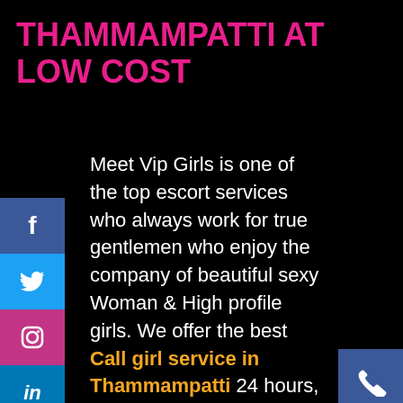THAMMAMPATTI AT LOW COST
Meet Vip Girls is one of the top escort services who always work for true gentlemen who enjoy the company of beautiful sexy Woman & High profile girls. We offer the best Call girl service in Thammampatti 24 hours, seven days a week. We have competitive rates, fine service, and assured discretion at all times.
With Mystic Kisses, We pride Memorable & Long-lasting experience you never experience yet. Our clients consider us to be a first-class & Most trusted agency, dedicated to the best in offering five-star quality, personal attention, and complete Satisfaction. We have a team of beautiful